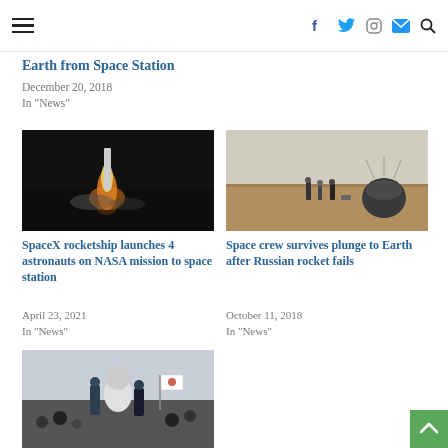Navigation header with hamburger menu and social icons (Facebook, Twitter, Instagram, Email, Search)
Earth from Space Station
December 20, 2018
In "News"
[Figure (photo): Rocket launch at night with bright exhaust flame and smoke]
SpaceX rocketship launches 4 astronauts on NASA mission to space station
April 23, 2021
In "News"
[Figure (photo): Soyuz capsule landed in a field with crew recovery team and capsule on its side]
Space crew survives plunge to Earth after Russian rocket fails
October 11, 2018
In "News"
[Figure (photo): Astronaut in spacesuit being helped out of capsule with a flag visible in the background]